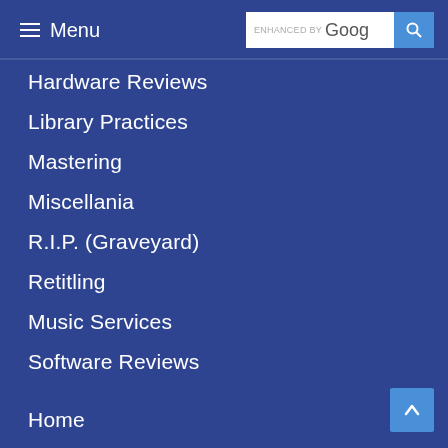Menu
Hardware Reviews
Library Practices
Mastering
Miscellania
R.I.P. (Graveyard)
Retitling
Music Services
Software Reviews
Home
About
Ratings